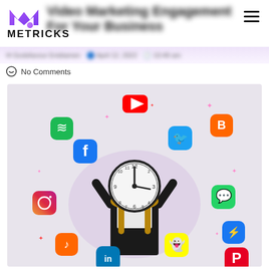METRICKS
Video Marketing Engagement For Your Business
Godsfavour Enidiamen  April 12, 2022  10:49 am
No Comments
[Figure (photo): Woman holding a large clock in front of her face, surrounded by floating 3D social media app icons including YouTube, Facebook, Twitter, Blogger, Instagram, WhatsApp, Snapchat, LinkedIn, Pinterest, Spotify, and others, on a light grey background.]